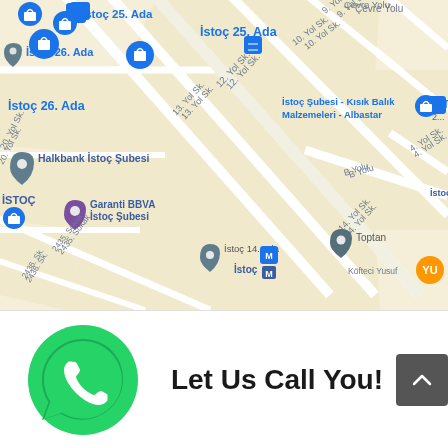[Figure (map): Google Maps view of İstoç area in Istanbul, Turkey showing streets labeled İstoç 25. Ada, İstoç 26. Ada, İstoç 14. Ada, 12. Yol Sk., 13. Yol Sk., 14. Yol Sk., 10. Yol Sk., 9. Yol, 4. Yol Sk., B Yolu, 2435. Sokak, 2436. Sk., 2412 Sk., with landmarks: Halkbank İstoç Şubesi, Garanti BBVA İstoç Şubesi, İstoç Şubesi - Kısık Balık Malzemeleri - Albastar, Toptan, İstoç metro, Köfteci Yusuf.]
[Figure (logo): WhatsApp logo - green circle with white phone/chat icon]
Let Us Call You!